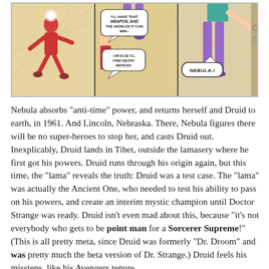[Figure (illustration): Comic book panels showing action scenes with characters including Nebula. Three panels side by side: left panel shows a red-suited figure in motion, middle panel shows characters with speech bubbles reading 'I'LL HAVE THAT WEAPON, AND THE WORLDS IT CAN WIN--' and '--OR ELSE I'LL FIND DEATH INSTEAD!', right panel shows a female character with a speech bubble reading 'NEBULA-!']
Nebula absorbs "anti-time" power, and returns herself and Druid to earth, in 1961. And Lincoln, Nebraska. There, Nebula figures there will be no super-heroes to stop her, and casts Druid out. Inexplicably, Druid lands in Tibet, outside the lamasery where he first got his powers. Druid runs through his origin again, but this time, the "lama" reveals the truth: Druid was a test case. The "lama" was actually the Ancient One, who needed to test his ability to pass on his powers, and create an interim mystic champion until Doctor Strange was ready. Druid isn't even mad about this, because "it's not everybody who gets to be point man for a Sorcerer Supreme!" (This is all pretty meta, since Druid was formerly "Dr. Droom" and was pretty much the beta version of Dr. Strange.) Druid feels his missteps, like his Avengers tenure, were the result of his feeling like an outcast, but he di-